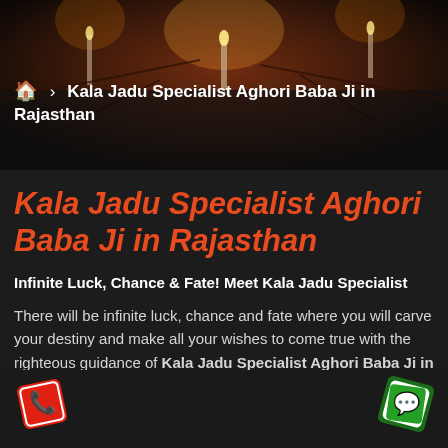[Figure (photo): Dark atmospheric background with candles and mystical objects]
🏠 > Kala Jadu Specialist Aghori Baba Ji in Rajasthan
Kala Jadu Specialist Aghori Baba Ji in Rajasthan
Infinite Luck, Chance & Fate! Meet Kala Jadu Specialist
There will be infinite luck, chance and fate where you will carve your destiny and make all your wishes to come true with the righteous guidance of Kala Jadu Specialist Aghori Baba Ji in Rajasthan.
[Figure (illustration): Phone call icon button (red background, white phone icon)]
[Figure (illustration): WhatsApp icon button (green background, white WhatsApp icon)]